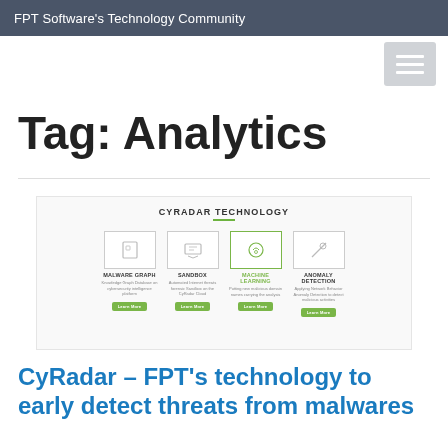FPT Software's Technology Community
Tag: Analytics
[Figure (screenshot): Screenshot of CyRadar Technology page showing four technology categories: Malware Graph, Sandbox, Machine Learning, Anomaly Detection, each with an icon, description text, and a green Learn More button.]
CyRadar – FPT's technology to early detect threats from malwares